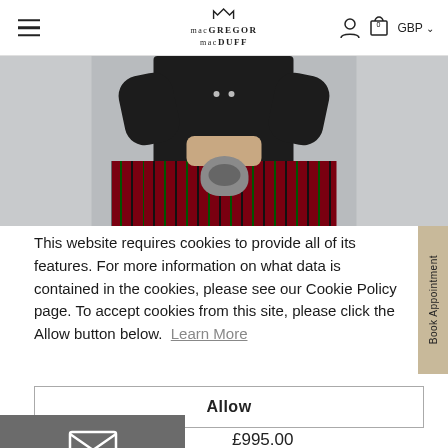MacGREGOR MacDUFF — GBP — navigation header
[Figure (photo): Person wearing a black Scottish jacket and red tartan kilt with a silver sporran, cropped at torso level, light grey background]
This website requires cookies to provide all of its features. For more information on what data is contained in the cookies, please see our Cookie Policy page. To accept cookies from this site, please click the Allow button below.  Learn More
Allow
[Figure (other): Email envelope icon on dark grey background]
£995.00
Book Appointment